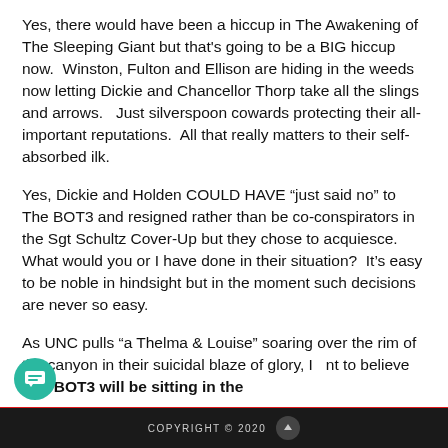Yes, there would have been a hiccup in The Awakening of The Sleeping Giant but that's going to be a BIG hiccup now.  Winston, Fulton and Ellison are hiding in the weeds now letting Dickie and Chancellor Thorp take all the slings and arrows.   Just silverspoon cowards protecting their all-important reputations.  All that really matters to their self-absorbed ilk.
Yes, Dickie and Holden COULD HAVE “just said no” to The BOT3 and resigned rather than be co-conspirators in the Sgt Schultz Cover-Up but they chose to acquiesce.  What would you or I have done in their situation?  It’s easy to be noble in hindsight but in the moment such decisions are never so easy.
As UNC pulls “a Thelma & Louise” soaring over the rim of the canyon in their suicidal blaze of glory, I …nt to believe The BOT3 will be sitting in the
COPYRIGHT © 2020